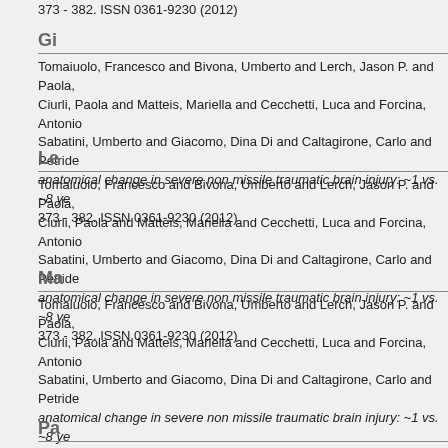373 - 382. ISSN 0361-9230 (2012)
Gi
Tomaiuolo, Francesco and Bivona, Umberto and Lerch, Jason P. and Paola, Ciurli, Paola and Matteis, Mariella and Cecchetti, Luca and Forcina, Antonio Sabatini, Umberto and Giacomo, Dina Di and Caltagirone, Carlo and Petride anatomical change in severe non missile traumatic brain injury: ~1 vs. ~8 ye 373 - 382. ISSN 0361-9230 (2012)
Le
Tomaiuolo, Francesco and Bivona, Umberto and Lerch, Jason P. and Paola, Ciurli, Paola and Matteis, Mariella and Cecchetti, Luca and Forcina, Antonio Sabatini, Umberto and Giacomo, Dina Di and Caltagirone, Carlo and Petride anatomical change in severe non missile traumatic brain injury: ~1 vs. ~8 ye 373 - 382. ISSN 0361-9230 (2012)
Ma
Tomaiuolo, Francesco and Bivona, Umberto and Lerch, Jason P. and Paola, Ciurli, Paola and Matteis, Mariella and Cecchetti, Luca and Forcina, Antonio Sabatini, Umberto and Giacomo, Dina Di and Caltagirone, Carlo and Petride anatomical change in severe non missile traumatic brain injury: ~1 vs. ~8 ye 373 - 382. ISSN 0361-9230 (2012)
Pa